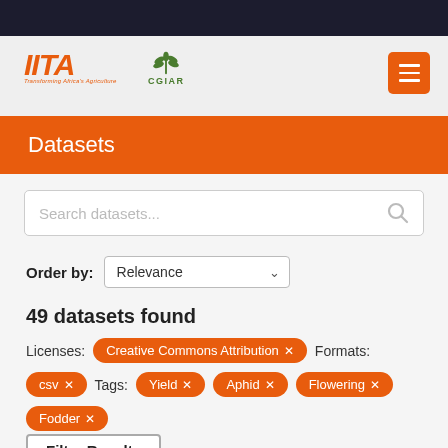[Figure (logo): IITA and CGIAR logos]
Datasets
Search datasets...
Order by: Relevance
49 datasets found
Licenses: Creative Commons Attribution ×  Formats:
csv ×   Tags:  Yield ×   Aphid ×   Flowering ×
Fodder ×
Filter Results